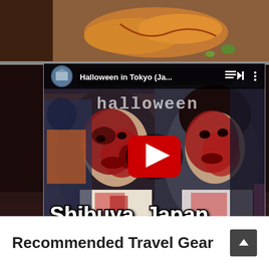[Figure (photo): Top strip showing Japanese food (fried/grilled dish with garnish) against a dark background]
[Figure (screenshot): YouTube video thumbnail showing two people with Halloween zombie makeup (bloody faces) in Shibuya, Japan. Video title reads 'Halloween in Tokyo (Ja...' with YouTube play button overlay. Text overlay reads 'Shibuya, Japan'. Channel icon shows a profile photo with text 'Halloween'.]
Recommended Travel Gear